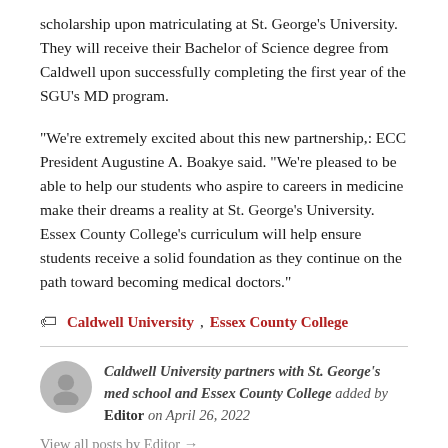scholarship upon matriculating at St. George's University. They will receive their Bachelor of Science degree from Caldwell upon successfully completing the first year of the SGU's MD program.
“We’re extremely excited about this new partnership,: ECC President Augustine A. Boakye said. “We’re pleased to be able to help our students who aspire to careers in medicine make their dreams a reality at St. George’s University. Essex County College’s curriculum will help ensure students receive a solid foundation as they continue on the path toward becoming medical doctors.”
Caldwell University, Essex County College
Caldwell University partners with St. George’s med school and Essex County College added by Editor on April 26, 2022
View all posts by Editor →